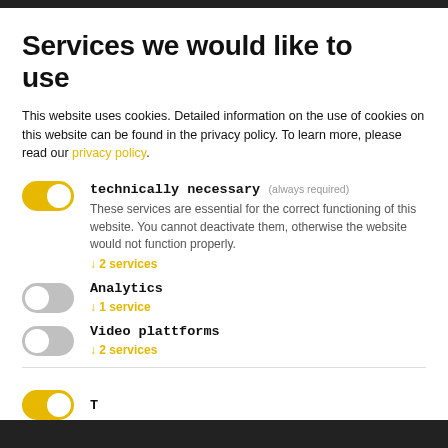Services we would like to use
This website uses cookies. Detailed information on the use of cookies on this website can be found in the privacy policy. To learn more, please read our privacy policy.
technically necessary (always required) — These services are essential for the correct functioning of this website. You cannot deactivate them, otherwise the website would not function properly. ↓ 2 services
Analytics ↓ 1 service
Video plattforms ↓ 2 services